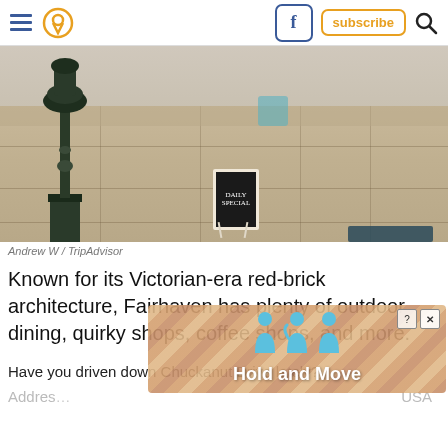Navigation bar with menu, location pin, Facebook, subscribe, search icons
[Figure (photo): Outdoor plaza/sidewalk with Victorian-era decorative lamp post on left, chalk sandwich board sign in background, entrance mat on right, stone paving tiles]
Andrew W / TripAdvisor
Known for its Victorian-era red-brick architecture, Fairhaven has plenty of outdoor dining, quirky shops, coffee shops, and more.
Have you driven down Chuckanut Drive lately?
Address [partially obscured by ad], USA
[Figure (screenshot): Advertisement overlay showing 'Hold and Move' with blue human figures icon and diagonal striped background, with close (X) and info (?) buttons]